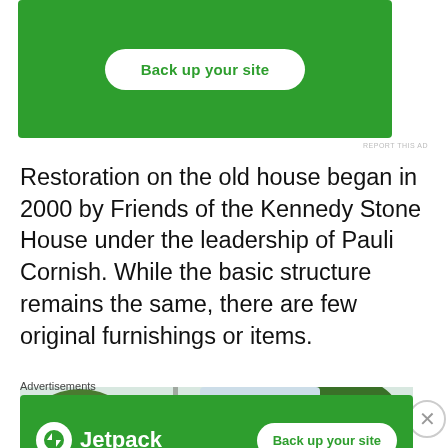[Figure (screenshot): Green Jetpack advertisement banner with 'Back up your site' button]
Restoration on the old house began in 2000 by Friends of the Kennedy Stone House under the leadership of Pauli Cornish. While the basic structure remains the same, there are few original furnishings or items.
[Figure (photo): Outdoor photo showing trees and a utility pole against a light sky]
Advertisements
[Figure (screenshot): Green Jetpack advertisement banner with logo and 'Back up your site' button]